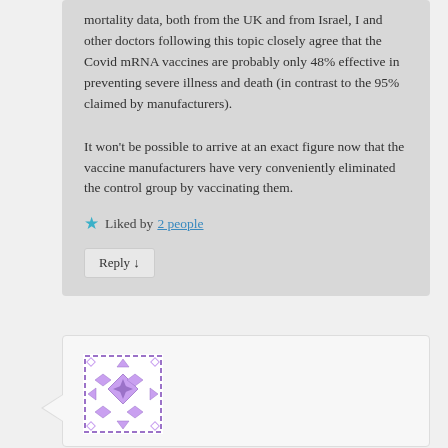mortality data, both from the UK and from Israel, I and other doctors following this topic closely agree that the Covid mRNA vaccines are probably only 48% effective in preventing severe illness and death (in contrast to the 95% claimed by manufacturers).
It won't be possible to arrive at an exact figure now that the vaccine manufacturers have very conveniently eliminated the control group by vaccinating them.
★ Liked by 2 people
Reply ↓
[Figure (illustration): A decorative avatar/profile image with a purple geometric quilt-like pattern on white background, framed with a dashed purple border.]